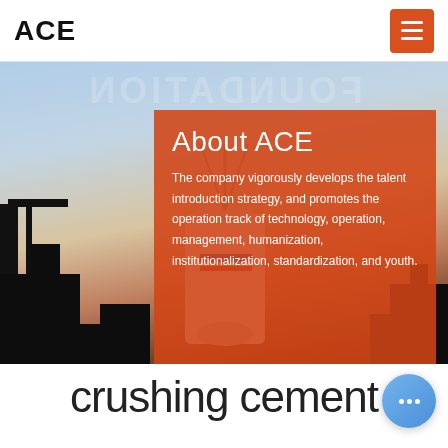ACE
[Figure (photo): Industrial machinery (crusher/cement equipment) silhouetted against a sky background with watermark text reversed, with an orange semi-transparent overlay box containing About ACE text]
About ACE
The company vigorously develops the talent introduction strategy, and promotes the operation track of technology, operation, management, humanization, institutionalization, standardization, and youth.
crushing cement